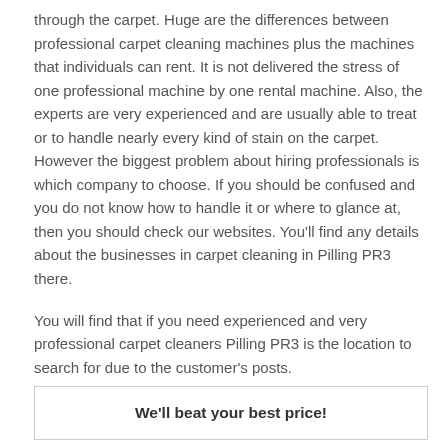through the carpet. Huge are the differences between professional carpet cleaning machines plus the machines that individuals can rent. It is not delivered the stress of one professional machine by one rental machine. Also, the experts are very experienced and are usually able to treat or to handle nearly every kind of stain on the carpet. However the biggest problem about hiring professionals is which company to choose. If you should be confused and you do not know how to handle it or where to glance at, then you should check our websites. You'll find any details about the businesses in carpet cleaning in Pilling PR3 there.
You will find that if you need experienced and very professional carpet cleaners Pilling PR3 is the location to search for due to the customer's posts.
We'll beat your best price!